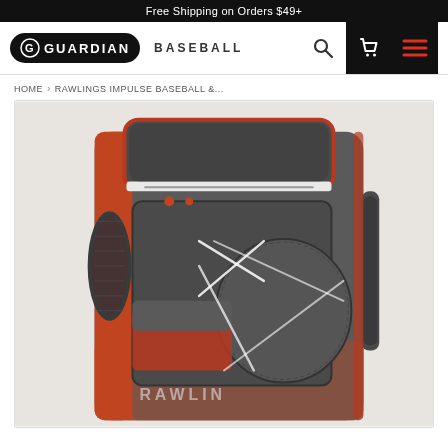Free Shipping on Orders $49+
[Figure (logo): Guardian Baseball logo with G icon badge and BASEBALL text]
HOME > RAWLINGS IMPULSE BASEBALL &...
[Figure (photo): Rawlings Impulse baseball backpack in dark gray and burnt orange/red colorway, showing top compartment with white trim, front mesh pocket with bungee cord, Rawlings logo patch, and partial side water bottle pocket. Bottom shows RAWLIN text on bag.]